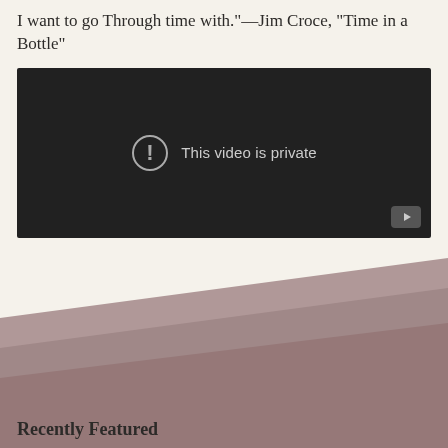I want to go Through time with."—Jim Croce, "Time in a Bottle"
[Figure (screenshot): Embedded video player showing 'This video is private' message with exclamation icon and YouTube play button in bottom right corner. Dark background.]
Recently Featured